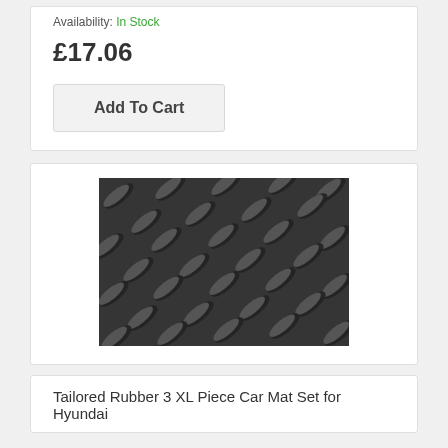Availability: In Stock
£17.06
Add To Cart
[Figure (photo): Close-up photo of black rubber diamond plate / checker plate texture with raised oval studs arranged in a repeating diagonal pattern]
Tailored Rubber 3 XL Piece Car Mat Set for Hyundai